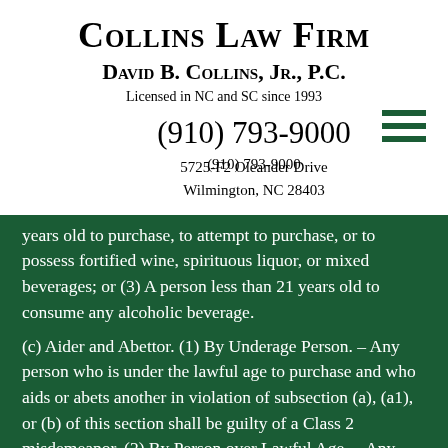Collins Law Firm
David B. Collins, Jr., P.C.
Licensed in NC and SC since 1993
(910) 793-9000
5725-F2 Oleander Drive
Wilmington, NC 28403
years old to purchase, to attempt to purchase, or to possess fortified wine, spirituous liquor, or mixed beverages; or (3) A person less than 21 years old to consume any alcoholic beverage.
(c) Aider and Abettor. (1) By Underage Person. – Any person who is under the lawful age to purchase and who aids or abets another in violation of subsection (a), (a1), or (b) of this section shall be guilty of a Class 2 misdemeanor. (2) By Person over Lawful Age. – Any person who is over the lawful age to purchase and who aids or abets another in violation of subsection (a), (a1), or (b) of this section shall